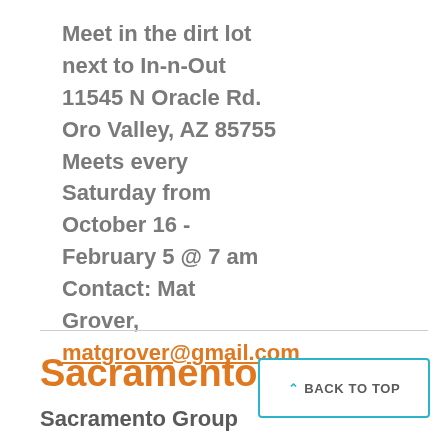Meet in the dirt lot next to In-n-Out 11545 N Oracle Rd. Oro Valley, AZ 85755 Meets every Saturday from October 16 - February 5 @ 7 am Contact: Mat Grover, matgrover@gmail.com
Sacramento
Sacramento Group